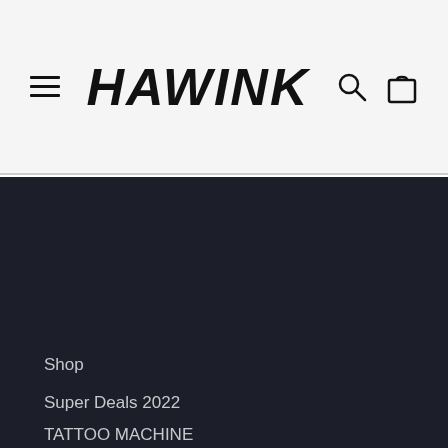HAWINK — navigation header with hamburger menu, search icon, and cart icon
Privacy Policy
Returns
SHIPPING
TERMS OF SERVICE
Affiliates
Payment Method Policy
Shop
Super Deals 2022
TATTOO MACHINE